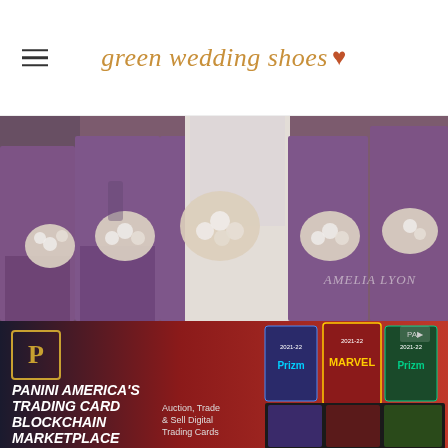green wedding shoes ♥
[Figure (photo): Wedding party photo showing bridesmaids in purple dresses holding white flower bouquets, with the bride in white dress in the center. Watermark reads AMELIA LYON.]
[Figure (screenshot): Advertisement banner for Panini America's Trading Card Blockchain Marketplace. Text reads: PANINI AMERICA'S TRADING CARD BLOCKCHAIN MARKETPLACE. Auction, Trade & Sell Digital Trading Cards. Shows trading card packages including Prizm and Marvel cards. Red and dark background.]
Nota
Redesigned Legal Banking, IOLTA Tracking, and business Checking for Law Firms in One Place